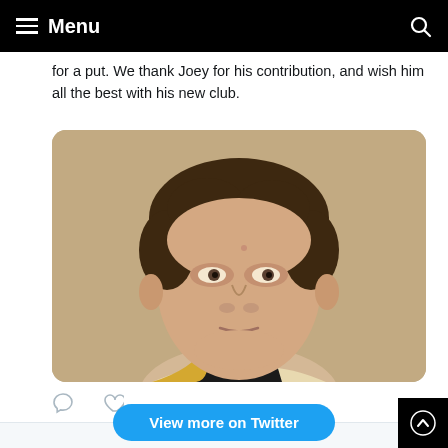Menu
for a put. We thank Joey for his contribution, and wish him all the best with his new club.
[Figure (photo): Close-up portrait photo of a young man with curly brown hair, wearing a dark collar and a light/gold top, looking slightly upward.]
View more on Twitter
Learn more about privacy on Twitter